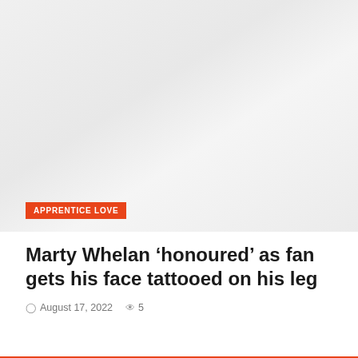[Figure (photo): Large light grey image area placeholder at top of article card]
APPRENTICE LOVE
Marty Whelan ‘honoured’ as fan gets his face tattooed on his leg
August 17, 2022   5